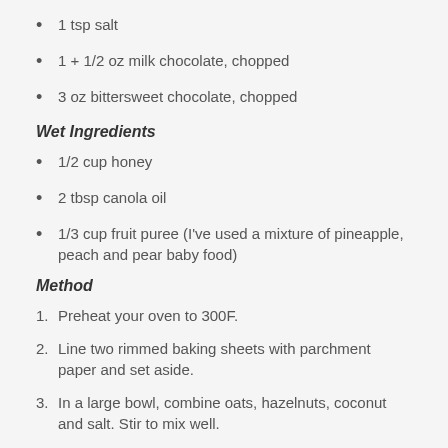1 tsp salt
1 + 1/2 oz milk chocolate, chopped
3 oz bittersweet chocolate, chopped
Wet Ingredients
1/2 cup honey
2 tbsp canola oil
1/3 cup fruit puree (I've used a mixture of pineapple, peach and pear baby food)
Method
Preheat your oven to 300F.
Line two rimmed baking sheets with parchment paper and set aside.
In a large bowl, combine oats, hazelnuts, coconut and salt. Stir to mix well.
In a small pan over medium heat, stir all of the wet ingredients until completely